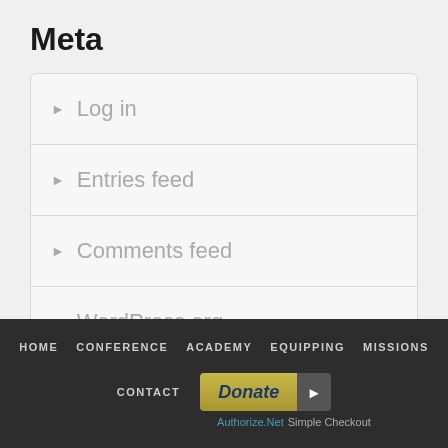Meta
Log in
Entries feed
Comments feed
WordPress.org
HOME  CONFERENCE  ACADEMY  EQUIPPING  MISSIONS  CONTACT  Donate  Authorize.Net Simple Checkout